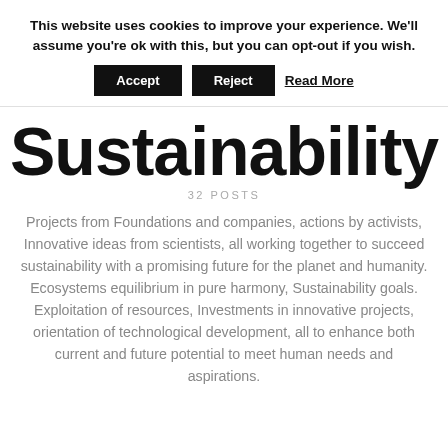This website uses cookies to improve your experience. We'll assume you're ok with this, but you can opt-out if you wish.
Accept   Reject   Read More
Sustainability
32 POSTS
Projects from Foundations and companies, actions by activists, Innovative ideas from scientists, all working together to succeed sustainability with a promising future for the planet and humanity. Ecosystems equilibrium in pure harmony, Sustainability goals. Exploitation of resources, Investments in innovative projects, orientation of technological development, all to enhance both current and future potential to meet human needs and aspirations.